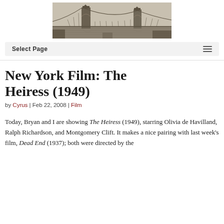[Figure (photo): Black and white photograph of the Brooklyn Bridge spanning a river, with industrial waterfront in the foreground.]
Select Page
New York Film: The Heiress (1949)
by Cyrus | Feb 22, 2008 | Film
Today, Bryan and I are showing The Heiress (1949), starring Olivia de Havilland, Ralph Richardson, and Montgomery Clift. It makes a nice pairing with last week's film, Dead End (1937); both were directed by the